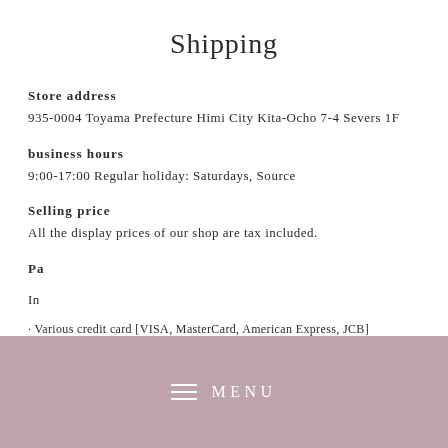Shipping
Store address
935-0004 Toyama Prefecture Himi City Kita-Ocho 7-4 Severs 1F
business hours
9:00-17:00 Regular holiday: Saturdays, Source
Selling price
All the display prices of our shop are tax included.
Pa
In
· Various credit card [VISA, MasterCard, American Express, JCB]
[Figure (other): Navigation menu overlay bar with hamburger icon and MENU text in pink/mauve color]